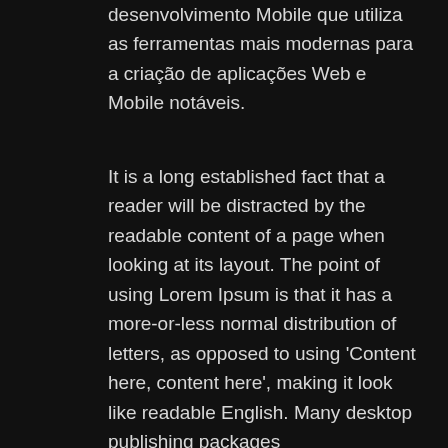desenvolvimento Mobile que utiliza as ferramentas mais modernas para a criação de aplicações Web e Mobile notáveis.
It is a long established fact that a reader will be distracted by the readable content of a page when looking at its layout. The point of using Lorem Ipsum is that it has a more-or-less normal distribution of letters, as opposed to using 'Content here, content here', making it look like readable English. Many desktop publishing packages
[Figure (photo): Photo of a person's hands working at a laptop showing code on screen, with a blue mug nearby, dimly lit workspace]